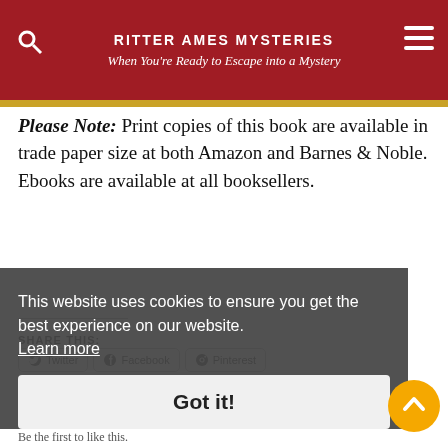RITTER AMES MYSTERIES
When You're Ready to Escape into a Mystery
Please Note: Print copies of this book are available in trade paper size at both Amazon and Barnes & Noble. Ebooks are available at all booksellers.
SHARE THIS:
Twitter Facebook Pinterest Telegram Pocket Print WhatsApp Tumblr Reddit
This website uses cookies to ensure you get the best experience on our website. Learn more
Got it!
LIKE THIS:
Like
Be the first to like this.